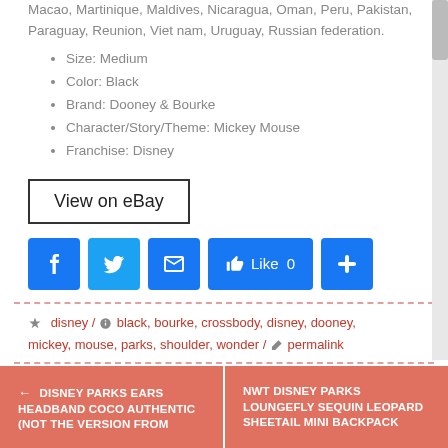Macao, Martinique, Maldives, Nicaragua, Oman, Peru, Pakistan, Paraguay, Reunion, Viet nam, Uruguay, Russian federation.
Size: Medium
Color: Black
Brand: Dooney & Bourke
Character/Story/Theme: Mickey Mouse
Franchise: Disney
[Figure (other): View on eBay button - rectangular bordered button with text 'View on eBay']
[Figure (other): Social sharing icons row: Facebook, Twitter, Email, Like 0 button, Plus button]
disney / black, bourke, crossbody, disney, dooney, mickey, mouse, parks, shoulder, wonder / permalink
← DISNEY PARKS EARS HEADBAND COCO AUTHENTIC (NOT THE VERSION FROM
NWT DISNEY PARKS LOUNGEFLY SEQUIN LEOPARD SHEETAIL MINI BACKPACK